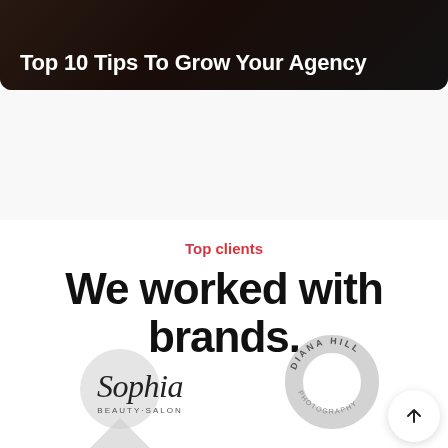[Figure (screenshot): Dark banner image with text overlay 'Top 10 Tips To Grow Your Agency']
Top 10 Tips To Grow Your Agency
Top clients
We worked with brands.
[Figure (logo): Sophia Beauty Salon logo — script text with grey circle background]
[Figure (logo): Diana Hill Photography logo — circular text around a grey ring]